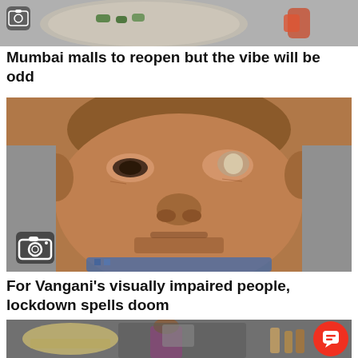[Figure (photo): Partial top image of items on a plate/tray, cropped at top of page]
Mumbai malls to reopen but the vibe will be odd
[Figure (photo): Close-up portrait of an older Indian man with visually impaired eyes, with a camera icon overlay in the lower left]
For Vangani's visually impaired people, lockdown spells doom
[Figure (photo): Partial bottom image showing people near a vehicle, with a red chat/comment button in the lower right corner]